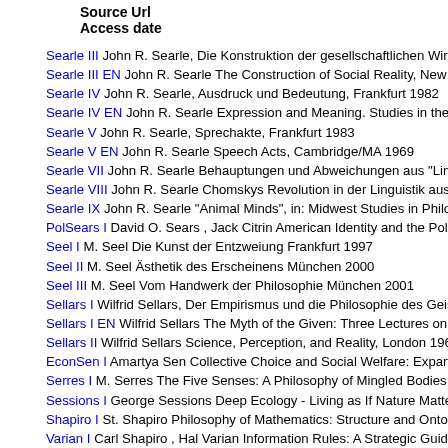Source Url
Access date
Searle III John R. Searle, Die Konstruktion der gesellschaftlichen Wirklichkeit, Ha
Searle III EN John R. Searle The Construction of Social Reality, New York 1995
Searle IV John R. Searle, Ausdruck und Bedeutung, Frankfurt 1982
Searle IV EN John R. Searle Expression and Meaning. Studies in the Theory of S
Searle V John R. Searle, Sprechakte, Frankfurt 1983
Searle V EN John R. Searle Speech Acts, Cambridge/MA 1969
Searle VII John R. Searle Behauptungen und Abweichungen aus "Linguistik und
Searle VIII John R. Searle Chomskys Revolution in der Linguistik aus "Linguistik
Searle IX John R. Searle "Animal Minds", in: Midwest Studies in Philosophy 19 (1
PolSears I David O. Sears , Jack Citrin American Identity and the Politics of Multi
Seel I M. Seel Die Kunst der Entzweiung Frankfurt 1997
Seel II M. Seel Ästhetik des Erscheinens München 2000
Seel III M. Seel Vom Handwerk der Philosophie München 2001
Sellars I Wilfrid Sellars, Der Empirismus und die Philosophie des Geistes, Paderb
Sellars I EN Wilfrid Sellars The Myth of the Given: Three Lectures on the Philoso
Sellars II Wilfrid Sellars Science, Perception, and Reality, London 1963 aus "Wa
EconSen I Amartya Sen Collective Choice and Social Welfare: Expanded Edition
Serres I M. Serres The Five Senses: A Philosophy of Mingled Bodies
Sessions I George Sessions Deep Ecology - Living as If Nature Mattered Santa B
Shapiro I St. Shapiro Philosophy of Mathematics: Structure and Ontology Oxford
Varian I Carl Shapiro , Hal Varian Information Rules: A Strategic Guide to the Net
Shirky I Clay Shirky Here Comes Everybody: The Power of Organizing Without C
Skhlar I Judith N. Shklar Ordinary Vices Cambridge, MA 1985
Shoemaker I S. Shoemaker Identity, Cause, and Mind: Philosophical Essays Exp
Sidgwick I Henry Sidgwick Methods of Ethics 2017
Simmel I G. Simmel Die Probleme der Geschichtsphilosophie: Eine erkenntnisthe
psySimn II Herbert A. Simon Models of Thought New Haven 1979
Simon I Herbert A. Simon The Sciences of the Artificial Cambridge, MA 1970